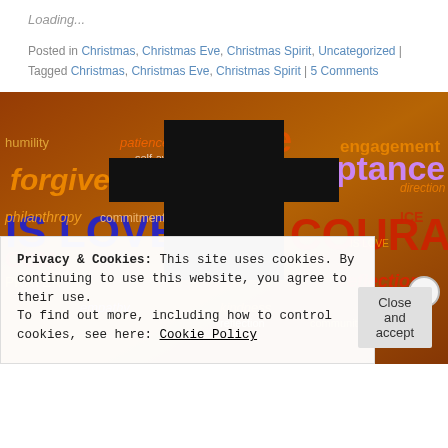Loading...
Posted in Christmas, Christmas Eve, Christmas Spirit, Uncategorized | Tagged Christmas, Christmas Eve, Christmas Spirit | 5 Comments
[Figure (illustration): Word cloud image with spiritual/religious words (service, forgiveness, acceptance, courage, IS LOVE, etc.) and a black cross silhouette overlaid on a colorful background]
Privacy & Cookies: This site uses cookies. By continuing to use this website, you agree to their use. To find out more, including how to control cookies, see here: Cookie Policy
Close and accept